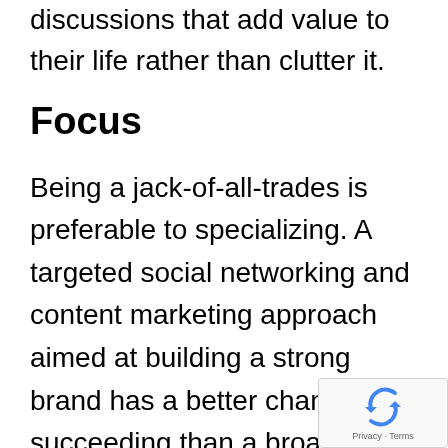discussions that add value to their life rather than clutter it.
Focus
Being a jack-of-all-trades is preferable to specializing. A targeted social networking and content marketing approach aimed at building a strong brand has a better chance of succeeding than a broad plan that tries to be everything to everyone.
[Figure (logo): Google reCAPTCHA badge with recycling-style arrow logo and Privacy · Terms text]